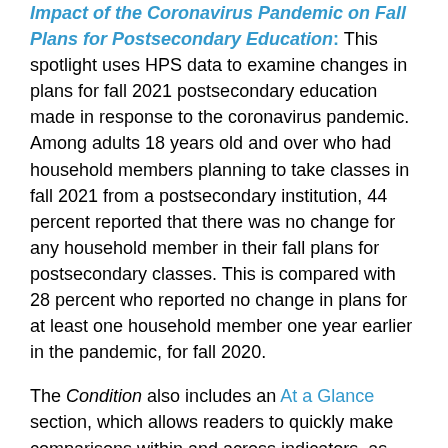Impact of the Coronavirus Pandemic on Fall Plans for Postsecondary Education: This spotlight uses HPS data to examine changes in plans for fall 2021 postsecondary education made in response to the coronavirus pandemic. Among adults 18 years old and over who had household members planning to take classes in fall 2021 from a postsecondary institution, 44 percent reported that there was no change for any household member in their fall plans for postsecondary classes. This is compared with 28 percent who reported no change in plans for at least one household member one year earlier in the pandemic, for fall 2020.
The Condition also includes an At a Glance section, which allows readers to quickly make comparisons within and across indicators, as well as a Reader's Guide, a Glossary, and a Guide to Sources that provide additional information to help place the indicators in context. In addition, each indicator references the source data tables that were used to produce that indicator. Most of these are in the